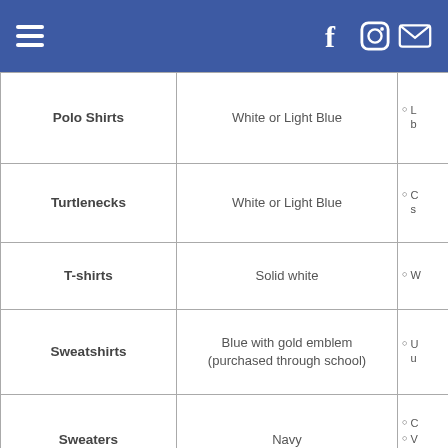Navigation header with hamburger menu and social icons (Facebook, Instagram, Email)
| Item | Color/Description | Notes |
| --- | --- | --- |
| Polo Shirts | White or Light Blue | ○ L...b... |
| Turtlenecks | White or Light Blue | ○ C...s... |
| T-shirts | Solid white | ○ W... |
| Sweatshirts | Blue with gold emblem (purchased through school) | ○ U...u... |
| Sweaters | Navy | ○ C... ○ V... ○ S... |
| Socks | Solid Navy or White | ○ N... ○ C...d...s... |
| Shoes | Leather or athletic | ○ N...b..."...o... |